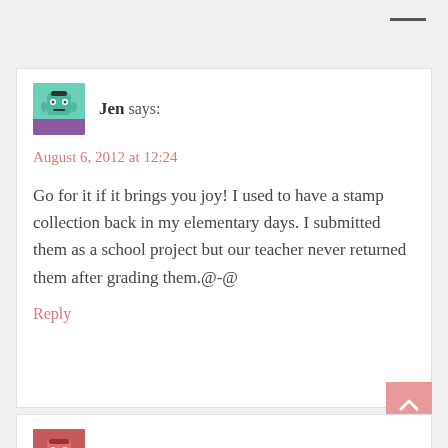Jen says:
August 6, 2012 at 12:24
Go for it if it brings you joy! I used to have a stamp collection back in my elementary days. I submitted them as a school project but our teacher never returned them after grading them.@-@
Reply
Yhey Garcia says:
August 5, 2012 at 23:00